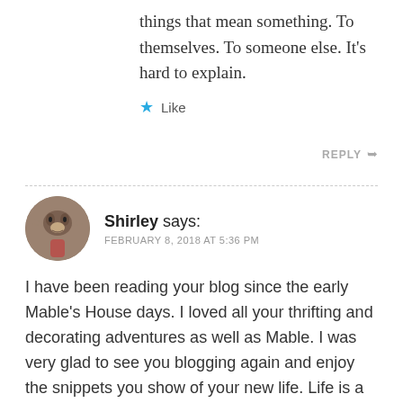things that mean something. To themselves. To someone else. It's hard to explain.
Like
REPLY
Shirley says: FEBRUARY 8, 2018 AT 5:36 PM
I have been reading your blog since the early Mable's House days. I loved all your thrifting and decorating adventures as well as Mable. I was very glad to see you blogging again and enjoy the snippets you show of your new life. Life is a journey and some parts are just plain hard. Glad you got thru the difficult time and am happy with where you are today. Cannot